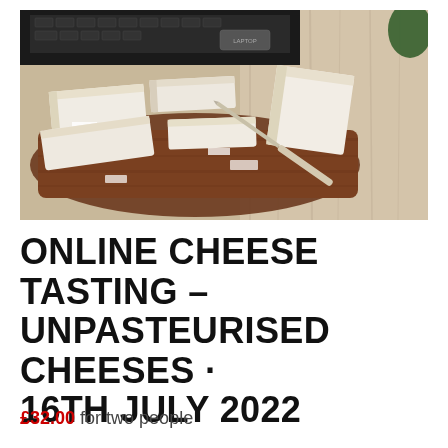[Figure (photo): A wooden chopping board with several rectangular pieces of white-rind cheese arranged on it, along with a cheese knife. A laptop keyboard is visible in the background, and some papers with labels are near the cheeses. The board is on a light wood surface.]
ONLINE CHEESE TASTING – UNPASTEURISED CHEESES · 16TH JULY 2022
£32.00 for two people